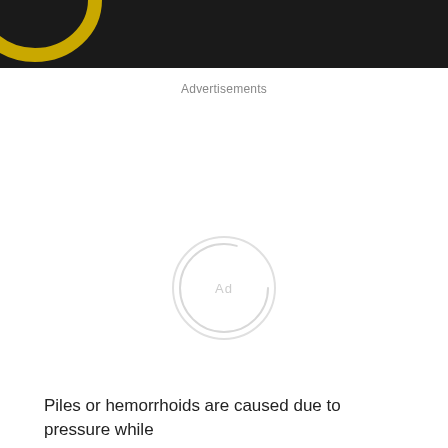[Figure (photo): Dark background photo showing a partial yellow/gold ring or circular object on a dark surface, cropped at the top of the page]
Advertisements
[Figure (other): Ad loading placeholder — a circular spinner/loader with 'Ad' text in light gray]
Piles or hemorrhoids are caused due to pressure while